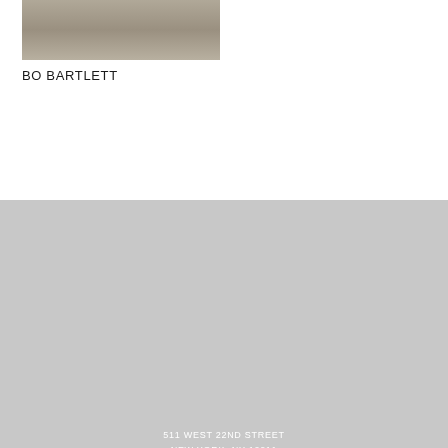[Figure (photo): Partial view of a painting or photograph showing a boat/canoe on water with muted earth tones]
BO BARTLETT
511 WEST 22ND STREET
NEW YORK, NY 10011
+1 (212) 445 0051
515 WEST 22ND STREET
NEW YORK, NY 10011
INFO@MILESMCENERY.COM
525 WEST 22ND STREET